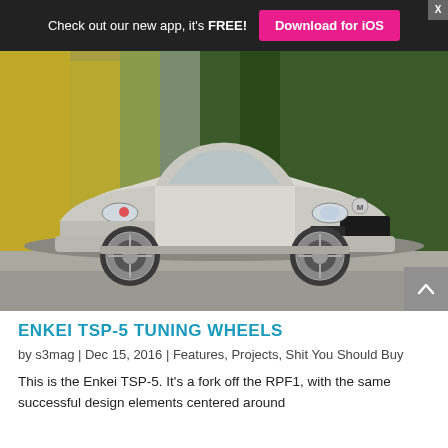Check out our new app, it's FREE! Download for iOS
[Figure (photo): Silver Mazda 3 hatchback photographed on a driveway, with trees in the background, fitted with aftermarket wheels and lowered suspension.]
ENKEI TSP-5 TUNING WHEELS
by s3mag | Dec 15, 2016 | Features, Projects, Shit You Should Buy
This is the Enkei TSP-5. It's a fork off the RPF1, with the same successful design elements centered around